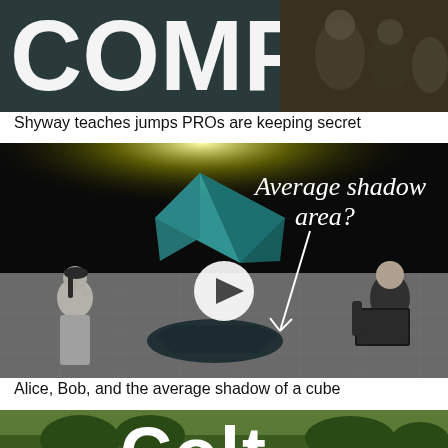[Figure (screenshot): Thumbnail image partially visible at top, showing text 'COMP' or similar and armored soldiers/game characters in background]
Shyway teaches jumps PROs are keeping secret
[Figure (screenshot): Video thumbnail showing 'Average shadow area?' text with arrow pointing to a dark hexagonal shadow beneath a teal cube, with two illustrated figures (Alice and Bob) on either side and a play button in the center]
Alice, Bob, and the average shadow of a cube
[Figure (screenshot): Partially visible thumbnail at bottom showing outdoor scene with large white text 'Colt']